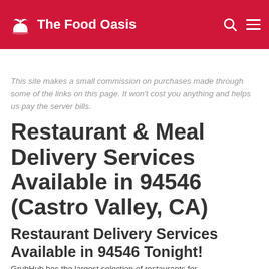The Food Oasis
This site makes a small commission on purchases made through some of the links on this page. It won't cost you anything and helps us pay the server bills.
Restaurant & Meal Delivery Services Available in 94546 (Castro Valley, CA)
Restaurant Delivery Services Available in 94546 Tonight!
GrubHub has the largest selection of restaurants for